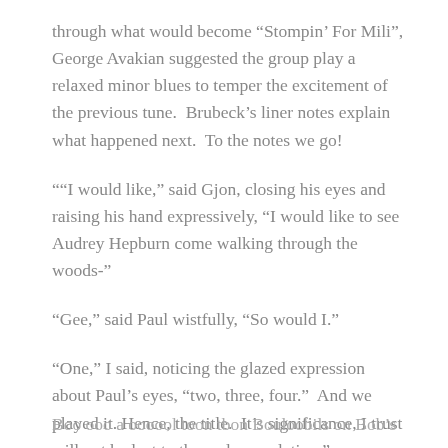through what would become “Stompin’ For Mili”, George Avakian suggested the group play a relaxed minor blues to temper the excitement of the previous tune.  Brubeck’s liner notes explain what happened next.  To the notes we go!
““I would like,” said Gjon, closing his eyes and raising his hand expressively, “I would like to see Audrey Hepburn come walking through the woods-”
“Gee,” said Paul wistfully, “So would I.”
“One,” I said, noticing the glazed expression about Paul’s eyes, “two, three, four.”  And we played it.  Hence, the title.  It’s significance, I trust will not be lost to the male population.”
Ooo ooo a oooool toon tbon Bouloobits on Bob's